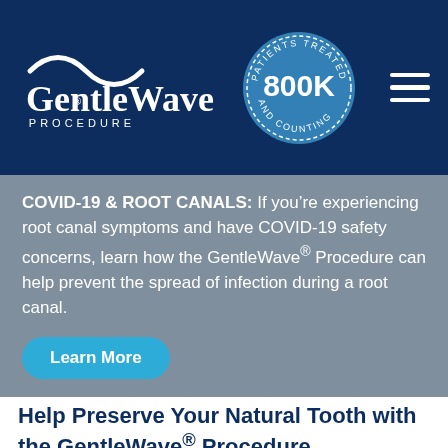[Figure (logo): GentleWave Procedure logo with wave graphic above text, white on dark navy blue background]
[Figure (infographic): Circular badge/seal graphic with text 'PATIENTS TREATED' around top arc, '800K' in large bold text in center, 'AND COUNTING' around bottom arc, on light blue background]
COVID-19 & ROOT CANALS: If you’re experiencing root canal symptoms and have COVID-19 safety concerns, learn how the GentleWave® Procedure can help prevent the spread of infection during a root canal.
Learn More
Help Preserve Your Natural Tooth with the GentleWave® Procedure